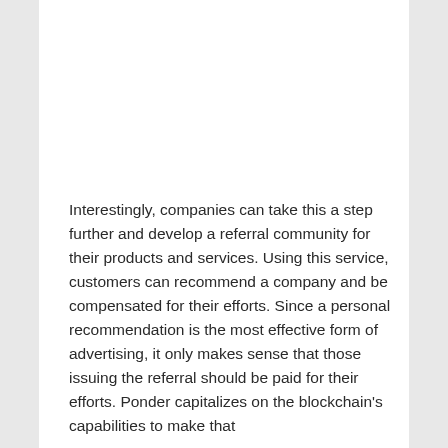Interestingly, companies can take this a step further and develop a referral community for their products and services. Using this service, customers can recommend a company and be compensated for their efforts. Since a personal recommendation is the most effective form of advertising, it only makes sense that those issuing the referral should be paid for their efforts. Ponder capitalizes on the blockchain's capabilities to make that